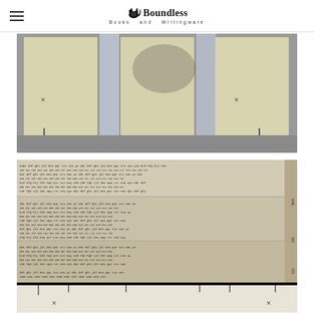Boundless Books and Writingware
[Figure (photo): Top-down view of cream/beige book cover boards laid flat on a gray surface, with two vertical strips of white/translucent tape running between them. Small pencil marks and cuts visible on the boards.]
[Figure (photo): Close-up photo of a book text block viewed from above at an angle, showing densely printed text pages of what appears to be an index or reference page. The bottom edge shows the spine area with pencil marks and small cuts/notches.]